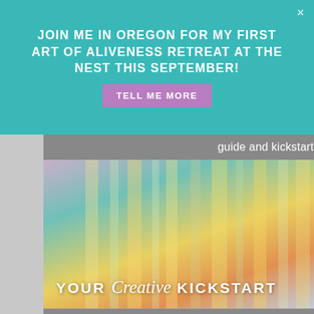JOIN ME IN OREGON FOR MY FIRST ART OF ALIVENESS RETREAT AT THE NEST THIS SEPTEMBER!
TELL ME MORE
guide and kickstart your creativity today!
[Figure (photo): Person painting or working on a colorful textile/tapestry artwork, with the overlay text 'YOUR Creative KICKSTART']
You'll also receive tips, tricks, and creative cheerleading in your inbox to keep your creativity flowing...
First name
you@example.com
I'm In!